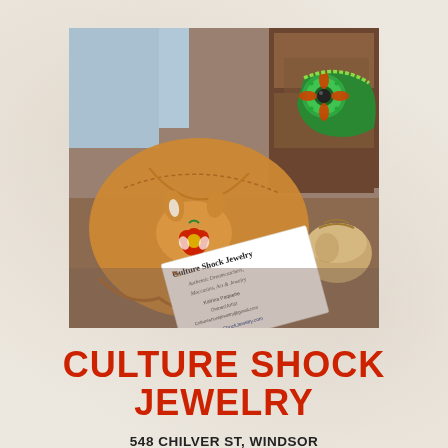[Figure (photo): Photo of Culture Shock Jewelry products including an embroidered leather bag with floral beadwork, a green and yellow beaded bracelet, a small leather pouch, and a business card reading 'Culture Shock Jewelry, Authentic Dreamcatchers, Moccasins, Art & Jewelry, Katrina Paquette, Owner/Artist, www.CultureShockJewelry.com']
CULTURE SHOCK JEWELRY
548 CHILVER ST, WINDSOR
Hand crafted jewellery with an